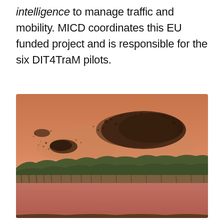intelligence to manage traffic and mobility. MICD coordinates this EU funded project and is responsible for the six DIT4TraM pilots.
[Figure (photo): A murmuration of starlings forming a large swirling cloud shape over a wetland landscape at sunset with warm orange-pink tones, trees along the horizon, and water in the foreground reflecting the sky.]